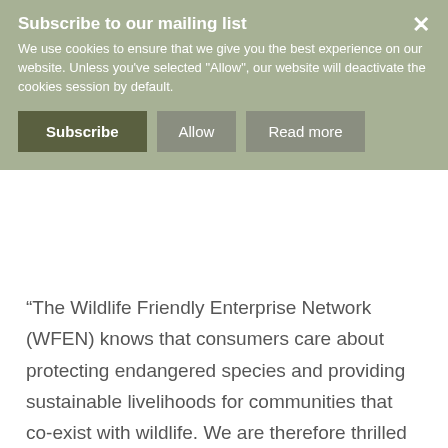[Figure (screenshot): Cookie consent banner with 'Subscribe to our mailing list' header, descriptive cookie text, and three buttons: Subscribe, Allow, Read more. An X close button is in the top right.]
“The Wildlife Friendly Enterprise Network (WFEN) knows that consumers care about protecting endangered species and providing sustainable livelihoods for communities that co-exist with wildlife. We are therefore thrilled to welcome Aveda as the first global beauty brand to become a WFEN Founding Corporate Member. Aveda has been a true industry leader in responsible ingredient sourcing that helps support local communities. Aveda’s sourcing of Wildlife Friendly® certified products is a model for the beauty industry,” said Amy Koa, to WFEN co-founder and